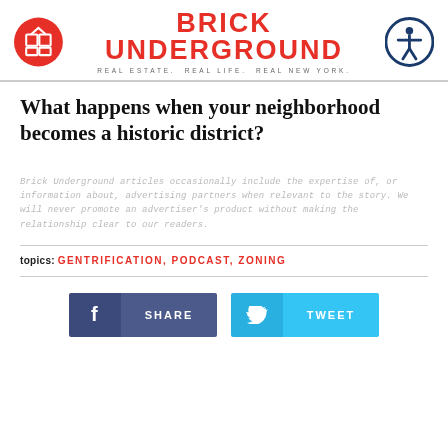BRICK UNDERGROUND — REAL ESTATE. REAL LIFE. REAL NEW YORK.
What happens when your neighborhood becomes a historic district?
Brick Underground articles occasionally include the expertise of, or information about, advertising partners when relevant to the story. We will never promote an advertiser's product without making the relationship clear to our readers.
topics: GENTRIFICATION, PODCAST, ZONING
[Figure (other): Facebook Share button and Twitter Tweet button]